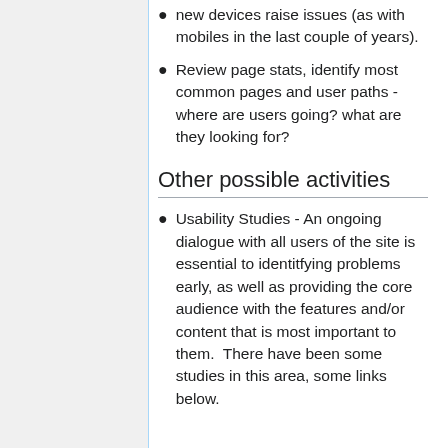new devices raise issues (as with mobiles in the last couple of years).
Review page stats, identify most common pages and user paths - where are users going? what are they looking for?
Other possible activities
Usability Studies - An ongoing dialogue with all users of the site is essential to identitfying problems early, as well as providing the core audience with the features and/or content that is most important to them.  There have been some studies in this area, some links below.